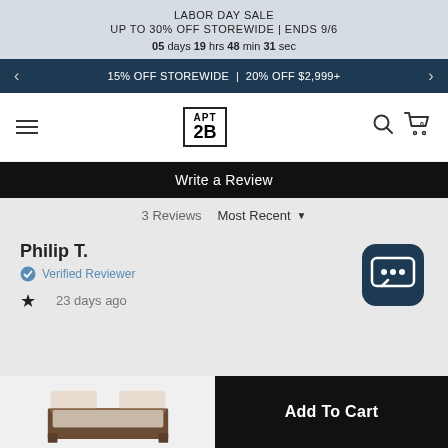LABOR DAY SALE UP TO 30% OFF STOREWIDE | ENDS 9/6 05 days 19 hrs 48 min 31 sec
15% OFF STOREWIDE | 20% OFF $2,999+
[Figure (logo): APT 2B logo in bordered box]
Write a Review
3 Reviews   Most Recent
Philip T.
Verified Reviewer
★  23 days ago
[Figure (screenshot): Chat bubble icon button]
[Figure (photo): Bed product thumbnail image]
Add To Cart